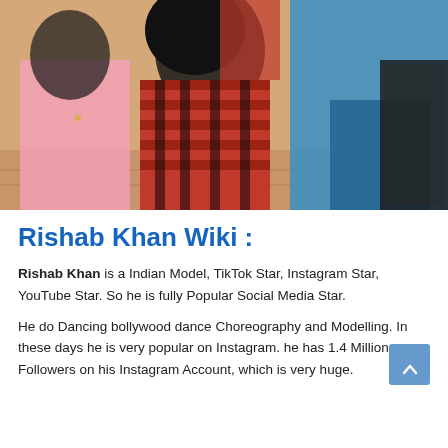[Figure (photo): Two people dancing or posing together outdoors. One person wears a red and black plaid/flannel shirt with dark hair, the other wears a blue outfit. Sandy/brick background visible.]
Rishab Khan Wiki :
Rishab Khan is a Indian Model, TikTok Star, Instagram Star, YouTube Star. So he is fully Popular Social Media Star.
He do Dancing bollywood dance Choreography and Modelling. In these days he is very popular on Instagram. he has 1.4 Million Followers on his Instagram Account, which is very huge.